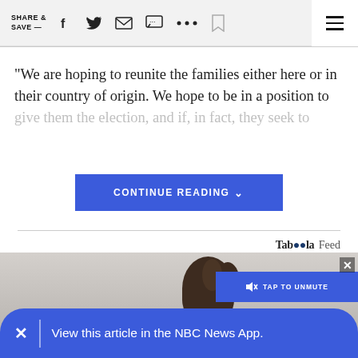SHARE & SAVE —
"We are hoping to reunite the families either here or in their country of origin. We hope to be in a position to give them the election, and if, in fact, they seek to
CONTINUE READING
Taboola Feed
[Figure (photo): Partial view of a person with curly dark hair, background is light grey]
TAP TO UNMUTE
View this article in the NBC News App.